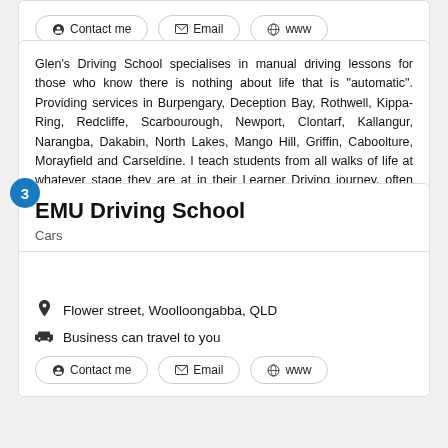Glen's Driving School specialises in manual driving lessons for those who know there is nothing about life that is "automatic". Providing services in Burpengary, Deception Bay, Rothwell, Kippa-Ring, Redcliffe, Scarbourough, Newport, Clontarf, Kallangur, Narangba, Dakabin, North Lakes, Mango Hill, Griffin, Caboolture, Morayfield and Carseldine. I teach students from all walks of life at whatever stage they are at in their Learner Driving journey, often from scratch, training them to become... Read more
EMU Driving School
Cars
Flower street, Woolloongabba, QLD
Business can travel to you